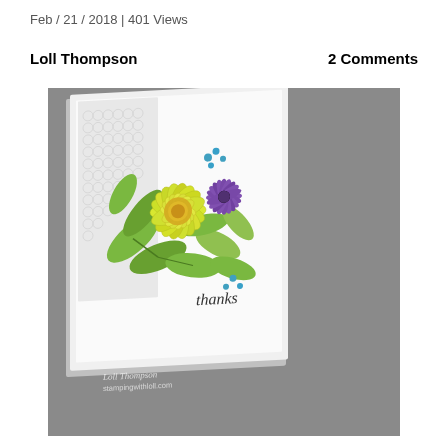Feb / 21 / 2018 | 401 Views
Loll Thompson    2 Comments
[Figure (photo): A handmade greeting card featuring large yellow and purple dahlia/chrysanthemum flowers with green leaves, on a white card base with a decorative lace/lattice die-cut panel, and 'thanks' written in script. Watermark reads 'Loll Thompson stampingwithloll.com']